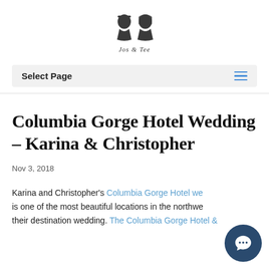[Figure (logo): Two silhouette profiles facing each other (bride and groom) with script text 'Jos & Tee' below]
Select Page
Columbia Gorge Hotel Wedding – Karina & Christopher
Nov 3, 2018
Karina and Christopher's Columbia Gorge Hotel we... is one of the most beautiful locations in the northwe... their destination wedding. The Columbia Gorge Hotel &